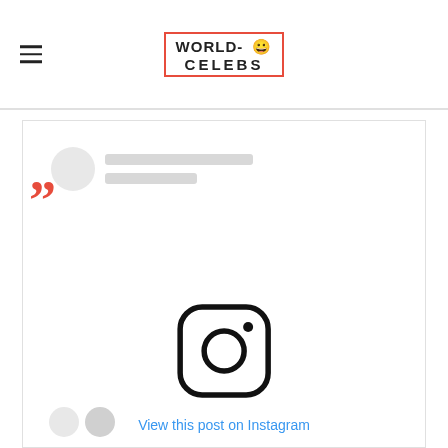WORLD-CELEBS
[Figure (screenshot): Instagram embedded post preview showing a blurred/loading profile avatar with placeholder lines for username, a large Instagram camera logo icon in the center, and a 'View this post on Instagram' link in blue text. A red quotation mark is overlaid on the left side. At the bottom two small avatar circles are partially visible.]